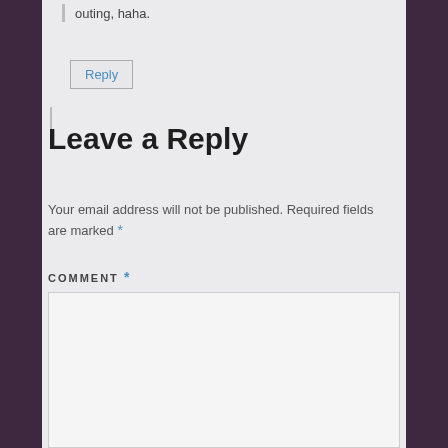outing, haha.
Reply
Leave a Reply
Your email address will not be published. Required fields are marked *
COMMENT *